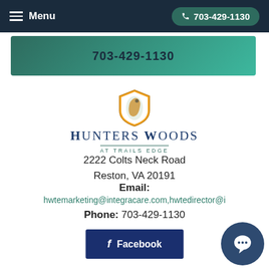Menu   703-429-1130
703-429-1130
[Figure (logo): Hunters Woods at Trails Edge shield logo with horse head]
HUNTERS WOODS AT TRAILS EDGE
2222 Colts Neck Road
Reston, VA 20191
Email:
hwtemarketing@integracare.com,hwtedirector@i
Phone: 703-429-1130
f Facebook